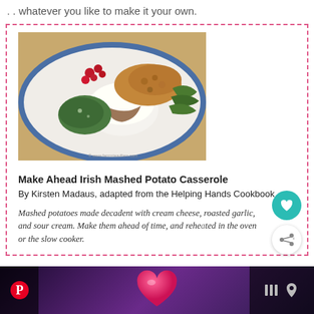. . whatever you like to make it your own.
[Figure (photo): A blue plate filled with Thanksgiving-style food including mashed potatoes with gravy, stuffing, cranberries, greens, and other sides. Copyright watermark visible at bottom right.]
Make Ahead Irish Mashed Potato Casserole
By Kirsten Madaus, adapted from the Helping Hands Cookbook
Mashed potatoes made decadent with cream cheese, roasted garlic, and sour cream. Make them ahead of time, and reheated in the oven or the slow cooker.